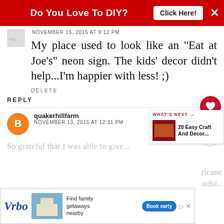[Figure (screenshot): Red banner advertisement: 'Do You Love To DIY? Click Here!' with close button]
NOVEMBER 15, 2015 AT 9:12 PM
My place used to look like an "Eat at Joe's" neon sign. The kids' decor didn't help...I'm happier with less! ;)
DELETE
REPLY
quakerhillfarm
NOVEMBER 13, 2015 AT 12:31 PM
[Figure (screenshot): WHAT'S NEXT panel showing '20 Easy Craft And Decor...' with thumbnail image]
[Figure (screenshot): Vrbo advertisement banner: Find family getaways nearby, Book early button]